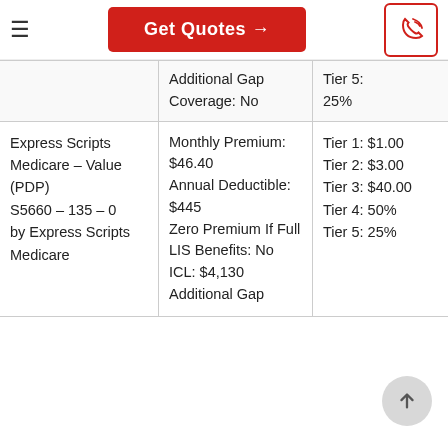Get Quotes →
| Plan | Details | Tiers |
| --- | --- | --- |
|  | Additional Gap Coverage: No | Tier 5: 25% |
| Express Scripts Medicare – Value (PDP) S5660 – 135 – 0 by Express Scripts Medicare | Monthly Premium: $46.40 Annual Deductible: $445 Zero Premium If Full LIS Benefits: No ICL: $4,130 Additional Gap | Tier 1: $1.00 Tier 2: $3.00 Tier 3: $40.00 Tier 4: 50% Tier 5: 25% |